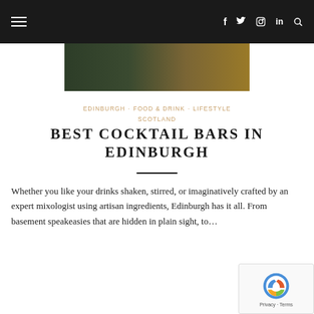≡   f  Twitter  Instagram  in  🔍
[Figure (photo): Close-up photo of cocktail bar bottles and glassware in dark green and gold tones]
EDINBURGH · FOOD & DRINK · LIFESTYLE SCOTLAND
BEST COCKTAIL BARS IN EDINBURGH
Whether you like your drinks shaken, stirred, or imaginatively crafted by an expert mixologist using artisan ingredients, Edinburgh has it all. From basement speakeasies that are hidden in plain sight, to...